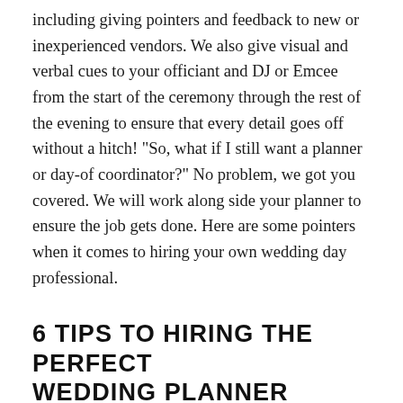including giving pointers and feedback to new or inexperienced vendors. We also give visual and verbal cues to your officiant and DJ or Emcee from the start of the ceremony through the rest of the evening to ensure that every detail goes off without a hitch!  "So, what if I still want a planner or day-of coordinator?" No problem, we got you covered. We will work along side your planner to ensure the job gets done. Here are some pointers when it comes to hiring your own wedding day professional.
6 TIPS TO HIRING THE PERFECT WEDDING PLANNER
1. Read their reviews! – This seems like a given; however, I don't mean just read the top few, I mean really read them as